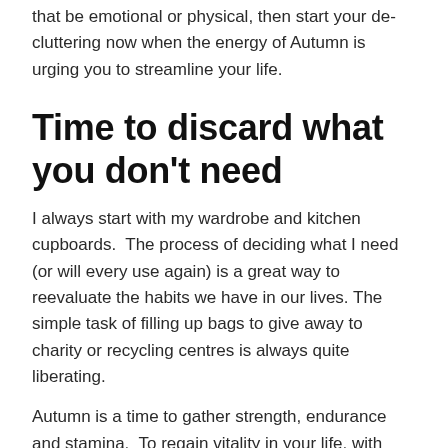that be emotional or physical, then start your de-cluttering now when the energy of Autumn is urging you to streamline your life.
Time to discard what you don't need
I always start with my wardrobe and kitchen cupboards.  The process of deciding what I need (or will every use again) is a great way to reevaluate the habits we have in our lives. The simple task of filling up bags to give away to charity or recycling centres is always quite liberating.
Autumn is a time to gather strength, endurance and stamina.  To regain vitality in your life, with exercise. Metal element goes together with foods